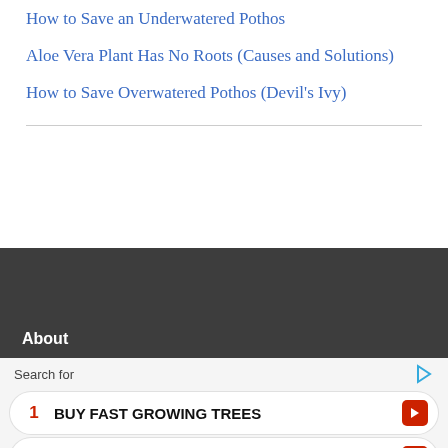How to Save an Underwatered Pothos
Aloe Vera Plant Has No Roots (Causes and Solutions)
How to Save Overwatered Pothos (Devil's Ivy)
About
Search for
1 BUY FAST GROWING TREES
2 CACTUS HOUSE PLANTS
Yahoo! Search | Sponsored